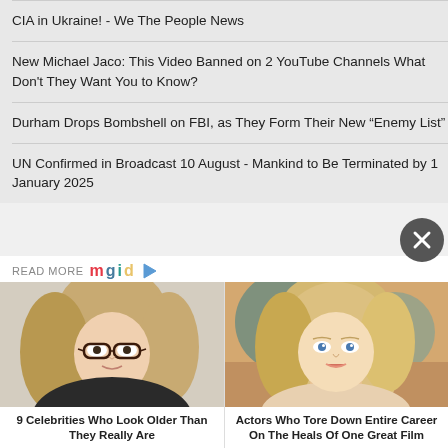CIA in Ukraine! - We The People News
New Michael Jaco: This Video Banned on 2 YouTube Channels What Don't They Want You to Know?
Durham Drops Bombshell on FBI, as They Form Their New “Enemy List”
UN Confirmed in Broadcast 10 August - Mankind to Be Terminated by 1 January 2025
READ MORE mgid
[Figure (photo): Blonde woman with glasses promotional photo]
9 Celebrities Who Look Older Than They Really Are
[Figure (photo): Blonde actress movie still photo]
Actors Who Tore Down Entire Career On The Heals Of One Great Film